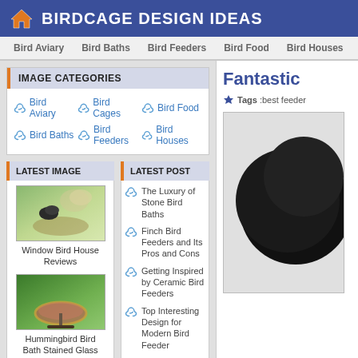BIRDCAGE DESIGN IDEAS
Bird Aviary | Bird Baths | Bird Feeders | Bird Food | Bird Houses
IMAGE CATEGORIES
Bird Aviary
Bird Cages
Bird Food
Bird Baths
Bird Feeders
Bird Houses
LATEST IMAGE
[Figure (photo): Bird at a window bird feeder with seeds]
Window Bird House Reviews
[Figure (photo): Colorful stained glass hummingbird bird bath]
Hummingbird Bird Bath Stained Glass
LATEST POST
The Luxury of Stone Bird Baths
Finch Bird Feeders and Its Pros and Cons
Getting Inspired by Ceramic Bird Feeders
Top Interesting Design for Modern Bird Feeder
Bird Seed Ornaments
Fantastic
Tags :best feeder